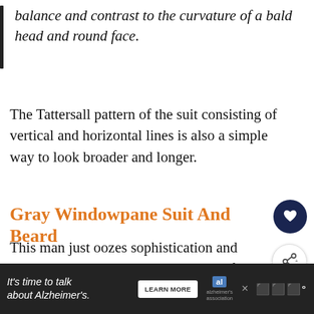balance and contrast to the curvature of a bald head and round face.
The Tattersall pattern of the suit consisting of vertical and horizontal lines is also a simple way to look broader and longer.
Gray Windowpane Suit And Beard
This man just oozes sophistication and masculinity. Another great example of just how well a suit can compliment a bald head.
[Figure (infographic): What's Next panel showing a thumbnail of a bearded man with text '7 Simple Tips For If You're...']
[Figure (infographic): Advertisement banner: It's time to talk about Alzheimer's. with Learn More button and Alzheimer's Association logo]